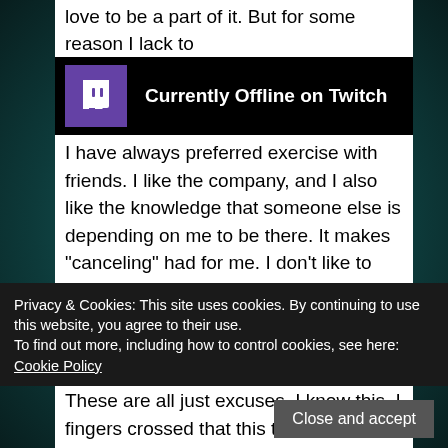love to be a part of it.  But for some reason I lack to
[Figure (screenshot): Twitch 'Currently Offline on Twitch' banner with purple Twitch logo icon on black background]
I have always preferred exercise with friends.  I like the company, and I also like the knowledge that someone else is depending on me to be there.  It makes “canceling” had for me.  I don’t like to miss out on anything.  Another friend of mine, Allen, is a gym fanatic.  But again, he is far above my level.

These are all just excuses.  I know this.  I just have to go to the gym.  I need to eat better.  I know it.  After all, what am I paying for?  I suppose the real purpose
Privacy & Cookies: This site uses cookies. By continuing to use this website, you agree to their use.
To find out more, including how to control cookies, see here: Cookie Policy
fingers crossed that this time next month, I will have